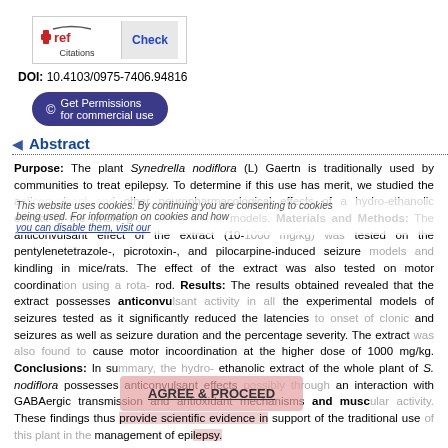[Figure (logo): CrossRef Check Citations logo with Check button]
DOI: 10.4103/0975-7406.94816
Get Permissions for commercial use
Abstract
Purpose: The plant Synedrella nodiflora (L) Gaertn is traditionally used by communities to treat epilepsy. To determine if this use has merit, we studied the anticonvulsant and other neuropharmacological effects of a hydro-ethanolic extract of the whole plant using animal models. Materials and Methods: The anticonvulsant effect of the extract (10-1000 mg/kg) was tested on the pentylenetetrazole-, picrotoxin-, and pilocarpine-induced seizure models and kindling in mice/rats. The effect of the extract was also tested on motor coordination using a rota-rod. Results: The results obtained revealed that the extract possesses anticonvulsant activity in all the experimental models of seizures tested as it significantly reduced the latencies to onset of clonic and seizures as well as seizure duration and the percentage severity. The extract was also found to cause motor incoordination at the higher dose of 1000 mg/kg. Conclusions: In summary, the hydro-ethanolic extract of the whole plant of S. nodiflora possesses anticonvulsant effects possibly through an interaction with GABAergic transmission and antioxidant mechanisms and muscular activity. These findings thus provide scientific evidence in support of the traditional use of this plant in the management of epilepsy.
Keywords: Kindling, pentylenetetrazole, picrotoxin, pilocarpine, Synedrella nodiflora